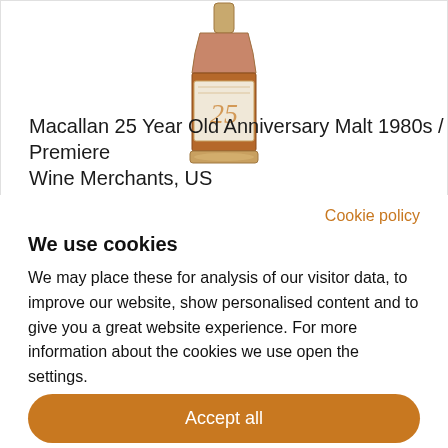[Figure (photo): Macallan 25 Year Old whisky bottle with amber liquid and cream/pink label showing the number 25]
Macallan 25 Year Old Anniversary Malt 1980s / Premiere Wine Merchants, US
Cookie policy
We use cookies
We may place these for analysis of our visitor data, to improve our website, show personalised content and to give you a great website experience. For more information about the cookies we use open the settings.
Accept all
Deny
No, adjust